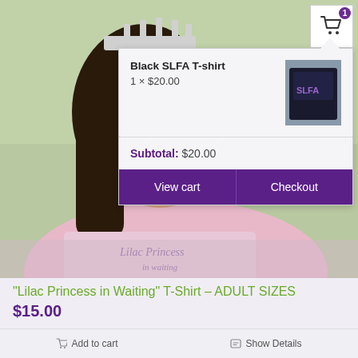[Figure (photo): Two young women wearing pink 'Lilac Princess in Waiting' t-shirts and tiaras, standing outdoors. A shopping cart popup overlay is displayed on the right side.]
Black SLFA T-shirt
1 × $20.00
Subtotal: $20.00
View cart
Checkout
"Lilac Princess in Waiting" T-Shirt – ADULT SIZES
$15.00
Add to cart
Show Details